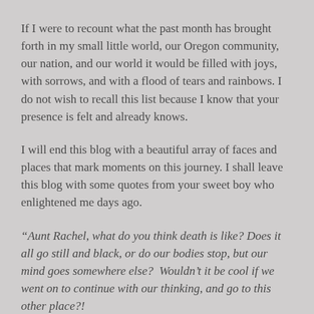If I were to recount what the past month has brought forth in my small little world, our Oregon community, our nation, and our world it would be filled with joys, with sorrows, and with a flood of tears and rainbows. I do not wish to recall this list because I know that your presence is felt and already knows.
I will end this blog with a beautiful array of faces and places that mark moments on this journey. I shall leave this blog with some quotes from your sweet boy who enlightened me days ago.
“Aunt Rachel, what do you think death is like? Does it all go still and black, or do our bodies stop, but our mind goes somewhere else?  Wouldn’t it be cool if we went on to continue with our thinking, and go to this other place?!